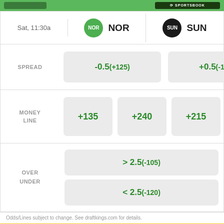DraftKings Sportsbook
| Date | Team 1 | Team 2 |
| --- | --- | --- |
| Sat, 11:30a | NOR | SUN |
SPREAD   -0.5 (+125)   +0.5 (-170)
MONEY LINE   +135   +240   +215
OVER UNDER   > 2.5 (-105)   < 2.5 (-120)
Odds/Lines subject to change. See draftkings.com for details.
[Figure (photo): Advertisement banner for Pokemon Trading Card Game products, showing a play mat and card boxes with blue and yellow checkered border. Labeled AD.]